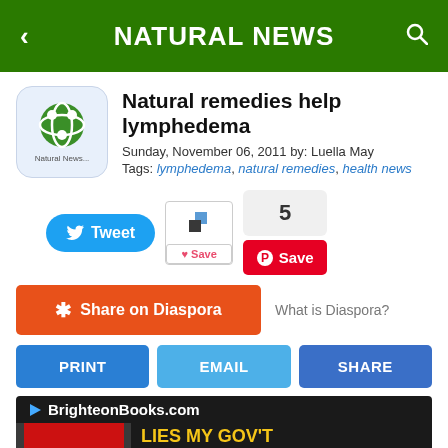NATURAL NEWS
Natural remedies help lymphedema
Sunday, November 06, 2011 by: Luella May
Tags: lymphedema, natural remedies, health news
[Figure (screenshot): Social sharing buttons: Tweet (Twitter), share icon with Save, Pinterest Save with count 5, Share on Diaspora button, What is Diaspora? link, PRINT, EMAIL, SHARE buttons]
[Figure (photo): Advertisement for BrighteonBooks.com featuring book 'Lies My Gov't Told Me and the Better Future Coming']